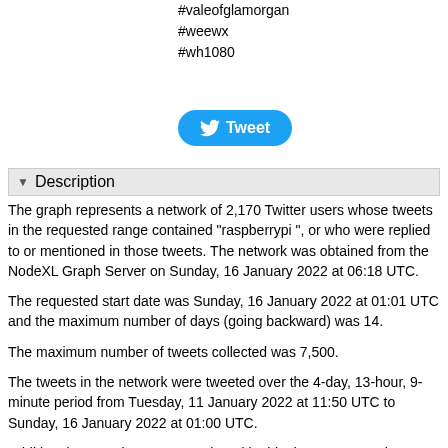#valeofglamorgan
#weewx
#wh1080
[Figure (other): Tweet button with Twitter bird logo]
Description
The graph represents a network of 2,170 Twitter users whose tweets in the requested range contained "raspberrypi ", or who were replied to or mentioned in those tweets. The network was obtained from the NodeXL Graph Server on Sunday, 16 January 2022 at 06:18 UTC.
The requested start date was Sunday, 16 January 2022 at 01:01 UTC and the maximum number of days (going backward) was 14.
The maximum number of tweets collected was 7,500.
The tweets in the network were tweeted over the 4-day, 13-hour, 9-minute period from Tuesday, 11 January 2022 at 11:50 UTC to Sunday, 16 January 2022 at 01:00 UTC.
Additional tweets that were mentioned in this data set were also collected from prior time periods. These tweets may expand the complete time period of the data.